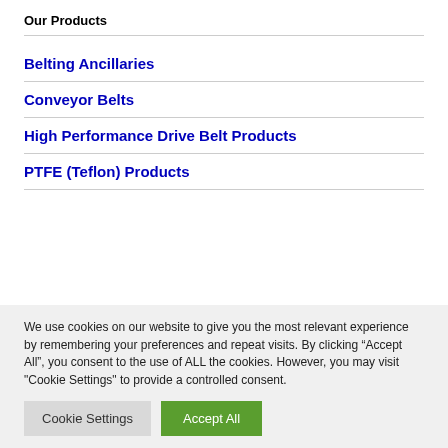Our Products
Belting Ancillaries
Conveyor Belts
High Performance Drive Belt Products
PTFE (Teflon) Products
We use cookies on our website to give you the most relevant experience by remembering your preferences and repeat visits. By clicking “Accept All”, you consent to the use of ALL the cookies. However, you may visit "Cookie Settings" to provide a controlled consent.
Cookie Settings | Accept All